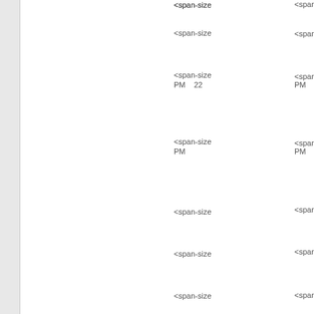<span-size
<span-size
<span-size PM   22
<span-size PM
<span-size
<span-size
<span-size
<span-size PM   30
<span-size PM
<span-size
<span-size
<span-size
<span-size PM   39
<span-size
<span-size